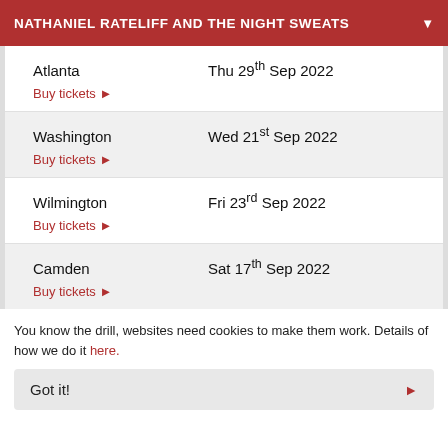NATHANIEL RATELIFF AND THE NIGHT SWEATS
Atlanta
Thu 29th Sep 2022
Buy tickets
Washington
Wed 21st Sep 2022
Buy tickets
Wilmington
Fri 23rd Sep 2022
Buy tickets
Camden
Sat 17th Sep 2022
Buy tickets
You know the drill, websites need cookies to make them work. Details of how we do it here.
Got it!